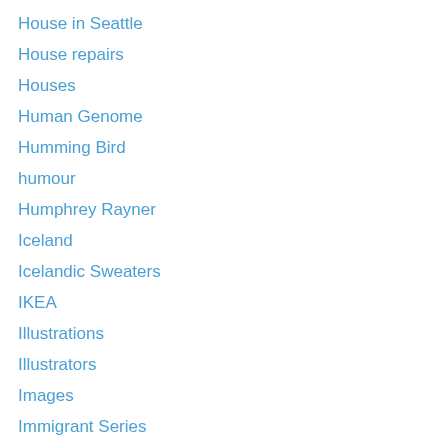House in Seattle
House repairs
Houses
Human Genome
Humming Bird
humour
Humphrey Rayner
Iceland
Icelandic Sweaters
IKEA
Illustrations
Illustrators
Images
Immigrant Series
Immigrant symbols
Immigrants
Immigration
Indian Sub-Continent
Injuries
Intercostal Waterway